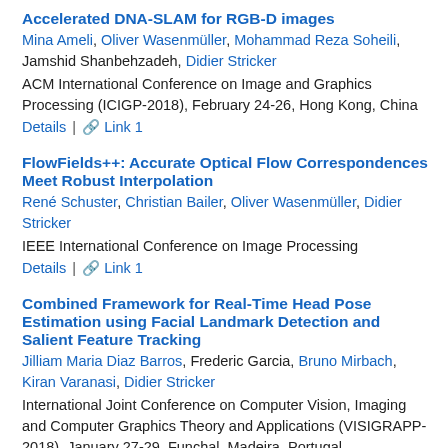Accelerated DNA-SLAM for RGB-D images
Mina Ameli, Oliver Wasenmüller, Mohammad Reza Soheili, Jamshid Shanbehzadeh, Didier Stricker
ACM International Conference on Image and Graphics Processing (ICIGP-2018), February 24-26, Hong Kong, China
Details | Link 1
FlowFields++: Accurate Optical Flow Correspondences Meet Robust Interpolation
René Schuster, Christian Bailer, Oliver Wasenmüller, Didier Stricker
IEEE International Conference on Image Processing
Details | Link 1
Combined Framework for Real-Time Head Pose Estimation using Facial Landmark Detection and Salient Feature Tracking
Jilliam Maria Diaz Barros, Frederic Garcia, Bruno Mirbach, Kiran Varanasi, Didier Stricker
International Joint Conference on Computer Vision, Imaging and Computer Graphics Theory and Applications (VISIGRAPP-2018), January 27-29, Funchal, Madeira, Portugal